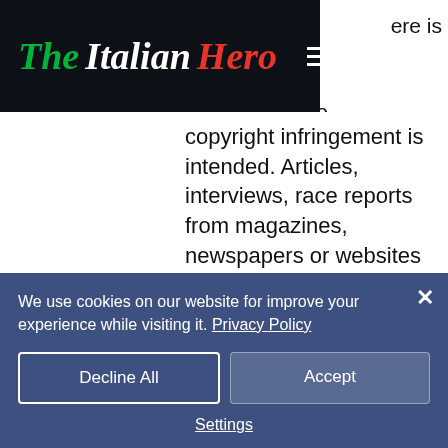[Figure (logo): The Italian Hero website logo on dark navy header bar with hamburger menu icon]
ere is
o
copyright infringement is intended. Articles, interviews, race reports from magazines, newspapers or websites do not reflect the quality or contents of their originals and are not copyright free (the copyrights are mentioned on the item's respective pages when possible).
There are no commercial advertisements on this website and I
We use cookies on our website for improve your experience while visiting it. Privacy Policy
Decline All
Accept
Settings